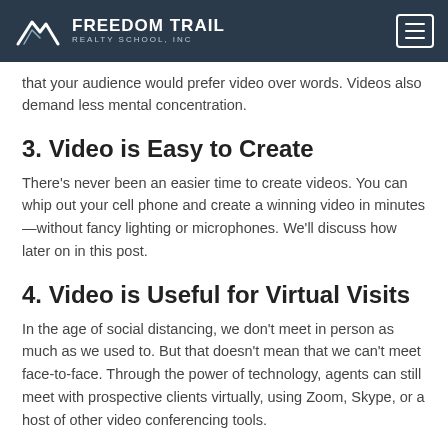FREEDOM TRAIL REALTY SCHOOL, INC
that your audience would prefer video over words. Videos also demand less mental concentration.
3. Video is Easy to Create
There's never been an easier time to create videos. You can whip out your cell phone and create a winning video in minutes—without fancy lighting or microphones. We'll discuss how later on in this post.
4. Video is Useful for Virtual Visits
In the age of social distancing, we don't meet in person as much as we used to. But that doesn't mean that we can't meet face-to-face. Through the power of technology, agents can still meet with prospective clients virtually, using Zoom, Skype, or a host of other video conferencing tools.